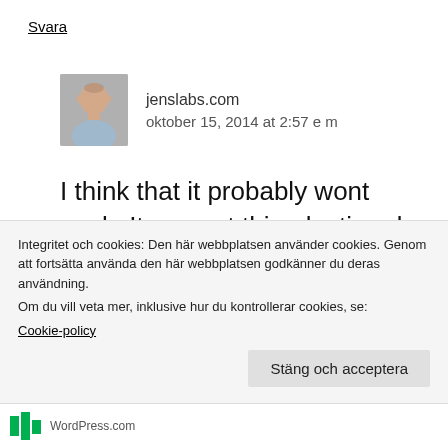Svara
jenslabs.com
oktober 15, 2014 at 2:57 e m
I think that it probably wont work. It can cut thin plasticard but cardboard seems to be more resistant to heat then plastic.
Integritet och cookies: Den här webbplatsen använder cookies. Genom att fortsätta använda den här webbplatsen godkänner du deras användning.
Om du vill veta mer, inklusive hur du kontrollerar cookies, se: Cookie-policy
Stäng och acceptera